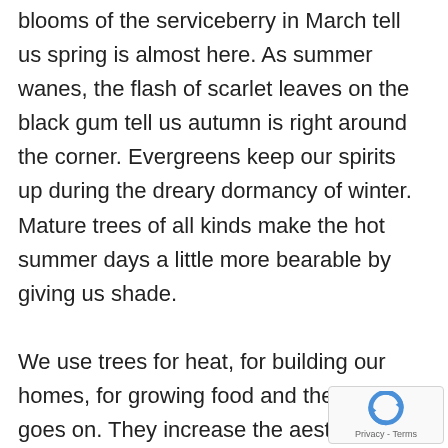blooms of the serviceberry in March tell us spring is almost here. As summer wanes, the flash of scarlet leaves on the black gum tell us autumn is right around the corner. Evergreens keep our spirits up during the dreary dormancy of winter. Mature trees of all kinds make the hot summer days a little more bearable by giving us shade.
We use trees for heat, for building our homes, for growing food and the list goes on. They increase the aesthetic value of anywhere they grow. They provide so many things we use on a regular basis, that civilization wouldn't be possible without them. But can we see the
[Figure (logo): reCAPTCHA logo badge with circular arrow icon and Privacy - Terms text]